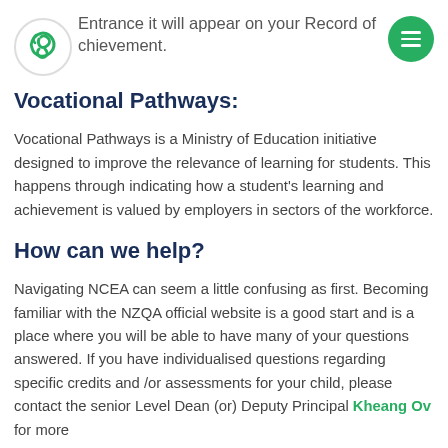Entrance it will appear on your Record of chievement.
Vocational Pathways:
Vocational Pathways is a Ministry of Education initiative designed to improve the relevance of learning for students. This happens through indicating how a student's learning and achievement is valued by employers in sectors of the workforce.
How can we help?
Navigating NCEA can seem a little confusing as first. Becoming familiar with the NZQA official website is a good start and is a place where you will be able to have many of your questions answered. If you have individualised questions regarding specific credits and /or assessments for your child, please contact the senior Level Dean (or) Deputy Principal Kheang Ov for more